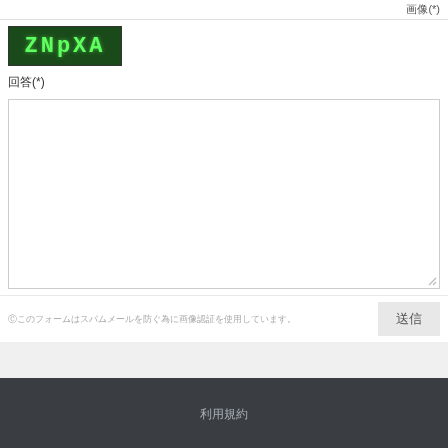画像(*)
[Figure (other): CAPTCHA image showing green text 'ZNpXA' on dark green background]
回答(*)
©このフォームはスパムメールを防ぐ為に画像認証を使用しています。
送信
利用規約
利用規約